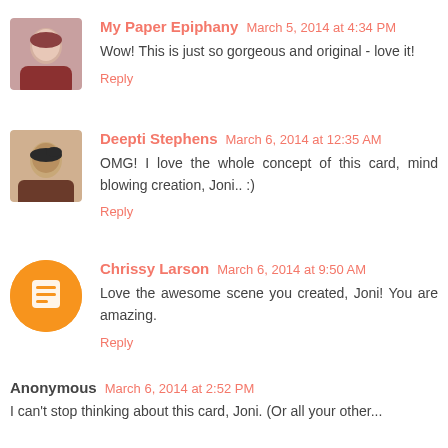My Paper Epiphany  March 5, 2014 at 4:34 PM
Wow! This is just so gorgeous and original - love it!
Reply
Deepti Stephens  March 6, 2014 at 12:35 AM
OMG! I love the whole concept of this card, mind blowing creation, Joni.. :)
Reply
Chrissy Larson  March 6, 2014 at 9:50 AM
Love the awesome scene you created, Joni! You are amazing.
Reply
Anonymous  March 6, 2014 at 2:52 PM
I can't stop thinking about this card, Joni. (Or all your other...